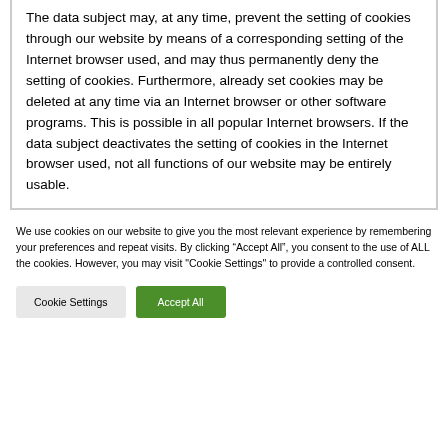The data subject may, at any time, prevent the setting of cookies through our website by means of a corresponding setting of the Internet browser used, and may thus permanently deny the setting of cookies. Furthermore, already set cookies may be deleted at any time via an Internet browser or other software programs. This is possible in all popular Internet browsers. If the data subject deactivates the setting of cookies in the Internet browser used, not all functions of our website may be entirely usable.
We use cookies on our website to give you the most relevant experience by remembering your preferences and repeat visits. By clicking “Accept All”, you consent to the use of ALL the cookies. However, you may visit "Cookie Settings" to provide a controlled consent.